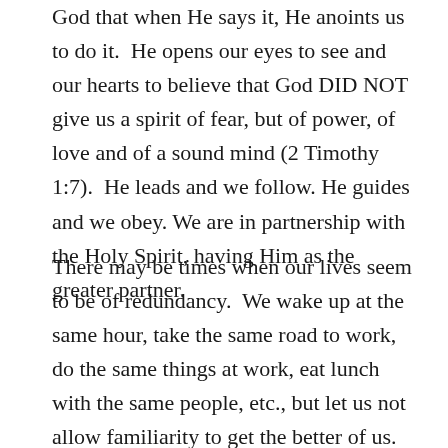God that when He says it, He anoints us to do it. He opens our eyes to see and our hearts to believe that God DID NOT give us a spirit of fear, but of power, of love and of a sound mind (2 Timothy 1:7). He leads and we follow. He guides and we obey. We are in partnership with the Holy Spirit, having Him as the greater partner.
There may be times when our lives seem to be of redundancy. We wake up at the same hour, take the same road to work, do the same things at work, eat lunch with the same people, etc., but let us not allow familiarity to get the better of us. You see, when we are so familiar with the road we are taking on every day to work, we no longer need a GPS to guide us and take us to our destination. The same is so when we take for granted the things that...